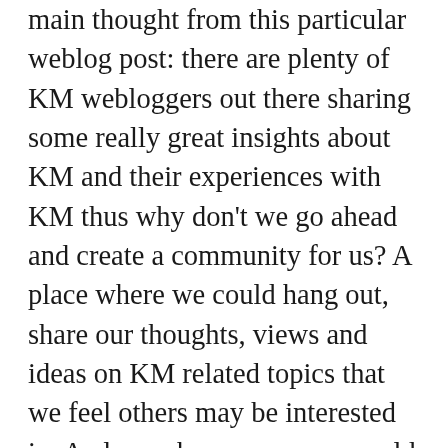main thought from this particular weblog post: there are plenty of KM webloggers out there sharing some really great insights about KM and their experiences with KM thus why don't we go ahead and create a community for us? A place where we could hang out, share our thoughts, views and ideas on KM related topics that we feel others may be interested in. A place where everyone would be welcome to join and participate and share what they know about their experiences in KM. I realise there are plenty of mailing